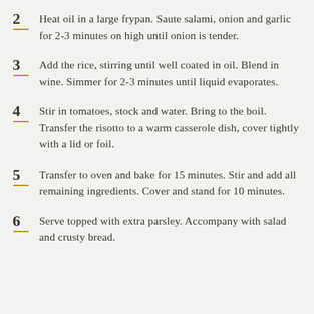2 Heat oil in a large frypan. Saute salami, onion and garlic for 2-3 minutes on high until onion is tender.
3 Add the rice, stirring until well coated in oil. Blend in wine. Simmer for 2-3 minutes until liquid evaporates.
4 Stir in tomatoes, stock and water. Bring to the boil. Transfer the risotto to a warm casserole dish, cover tightly with a lid or foil.
5 Transfer to oven and bake for 15 minutes. Stir and add all remaining ingredients. Cover and stand for 10 minutes.
6 Serve topped with extra parsley. Accompany with salad and crusty bread.